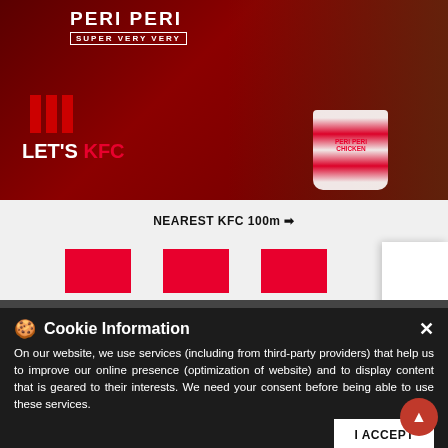[Figure (screenshot): KFC advertisement banner showing 'PERI PERI SUPER VERY VERY LET'S KFC' with a man eating fried chicken and a bucket of Peri Peri Chicken on a dark red background]
NEAREST KFC 100m →
[Figure (other): Three red squares in a row, possibly menu category icons]
[Figure (other): Android and Apple app store icons in a white panel on the right side]
Cookie Information
On our website, we use services (including from third-party providers) that help us to improve our online presence (optimization of website) and to display content that is geared to their interests. We need your consent before being able to use these services.
I ACCEPT